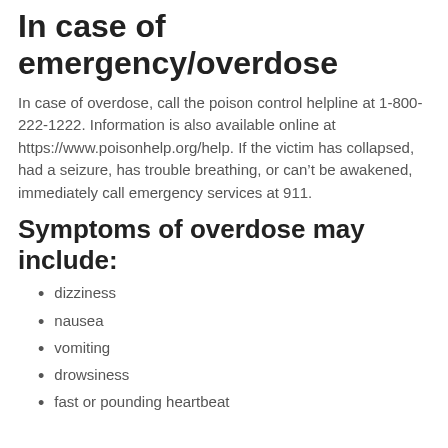In case of emergency/overdose
In case of overdose, call the poison control helpline at 1-800-222-1222. Information is also available online at https://www.poisonhelp.org/help. If the victim has collapsed, had a seizure, has trouble breathing, or can't be awakened, immediately call emergency services at 911.
Symptoms of overdose may include:
dizziness
nausea
vomiting
drowsiness
fast or pounding heartbeat